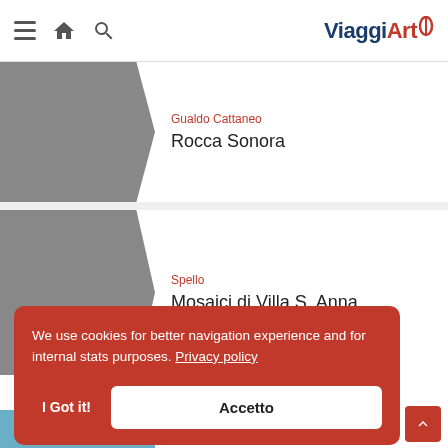ViaggiArt — navigation header with menu, home, search icons and ViaggiArt logo
Gualdo Cattaneo — Rocca Sonora
Spello — Mosaici di Villa S. Anna
We use cookies for better navigation experience and for internal stats purposes. Privacy policy
I Got it!  Accetto